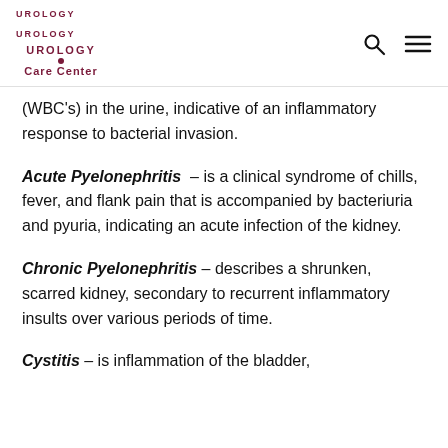UROLOGY Care Center
(WBC's) in the urine, indicative of an inflammatory response to bacterial invasion.
Acute Pyelonephritis – is a clinical syndrome of chills, fever, and flank pain that is accompanied by bacteriuria and pyuria, indicating an acute infection of the kidney.
Chronic Pyelonephritis – describes a shrunken, scarred kidney, secondary to recurrent inflammatory insults over various periods of time.
Cystitis – is inflammation of the bladder,